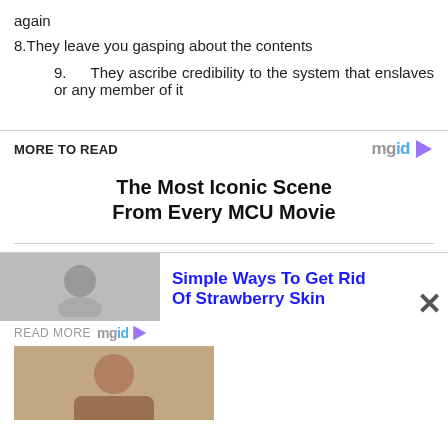again
8.They leave you gasping about the contents
9.    They ascribe credibility to the system that enslaves or any member of it
MORE TO READ
The Most Iconic Scene From Every MCU Movie
Simple Ways To Get Rid Of Strawberry Skin
READ MORE mgid